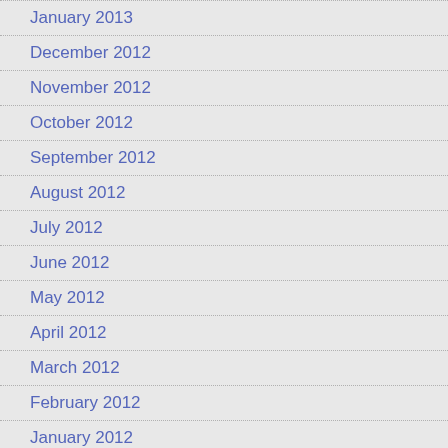January 2013
December 2012
November 2012
October 2012
September 2012
August 2012
July 2012
June 2012
May 2012
April 2012
March 2012
February 2012
January 2012
December 2011
November 2011